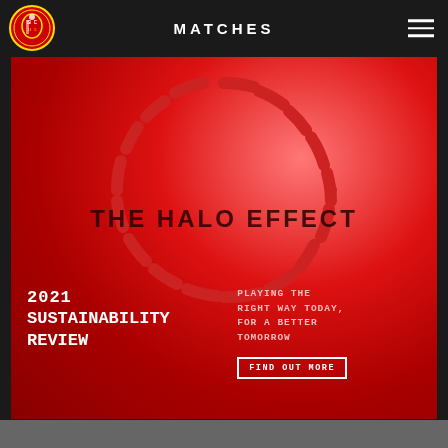MATCHES
[Figure (illustration): Southampton FC 2021 Sustainability Review promotional image. Red background with 'THE HALO EFFECT' branding featuring a circular halo graphic made of dashes. Bottom left shows '2021 SUSTAINABILITY REVIEW' in white monospace text. Bottom right shows 'PLAYING THE RIGHT WAY TODAY, FOR A BETTER TOMORROW' tagline and a 'FIND OUT MORE' button.]
2021 SUSTAINABILITY REVIEW
PLAYING THE RIGHT WAY TODAY, FOR A BETTER TOMORROW
FIND OUT MORE